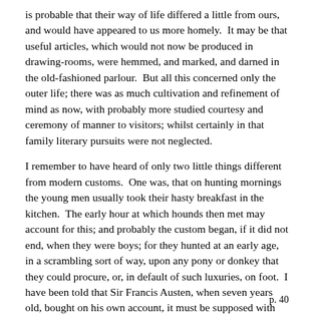is probable that their way of life differed a little from ours, and would have appeared to us more homely. It may be that useful articles, which would not now be produced in drawing-rooms, were hemmed, and marked, and darned in the old-fashioned parlour. But all this concerned only the outer life; there was as much cultivation and refinement of mind as now, with probably more studied courtesy and ceremony of manner to visitors; whilst certainly in that family literary pursuits were not neglected.
I remember to have heard of only two little things different from modern customs. One was, that on hunting mornings the young men usually took their hasty breakfast in the kitchen. The early hour at which hounds then met may account for this; and probably the custom began, if it did not end, when they were boys; for they hunted at an early age, in a scrambling sort of way, upon any pony or donkey that they could procure, or, in default of such luxuries, on foot. I have been told that Sir Francis Austen, when seven years old, bought on his own account, it must be supposed with his father's permission, a pony for a guinea and a half; and after riding him with great success for two seasons, sold him for a guinea more. One may wonder how the
p. 40